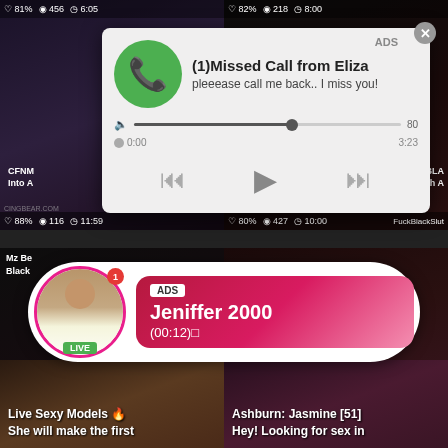[Figure (screenshot): Adult video thumbnail grid with stats overlays showing hearts, views, and duration]
[Figure (screenshot): Ad popup: missed call notification from Eliza with audio player controls, green phone icon]
[Figure (screenshot): Ad popup: Live notification for Jeniffer 2000 with pink gradient background and avatar with LIVE badge]
81%  456  6:05
82%  218  8:00
ADS
(1)Missed Call from Eliza
pleeease call me back.. I miss you!
0:00
3:23
88%  116  11:59
80%  427  10:00
ADS
Jeniffer 2000
(00:12)□
LIVE
76%  381  6:15
88%  191  6:03
Live Sexy Models 🔥
She will make the first
Ashburn: Jasmine [51]
Hey! Looking for sex in